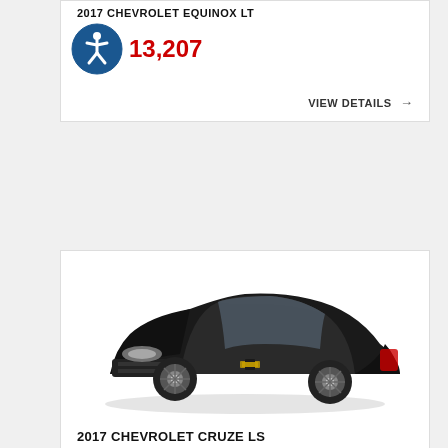2017 CHEVROLET EQUINOX LT
$13,207
VIEW DETAILS →
[Figure (photo): Black 2017 Chevrolet Cruze LS sedan, three-quarter front view on white background]
2017 CHEVROLET CRUZE LS
$13,995
VIEW DETAILS →